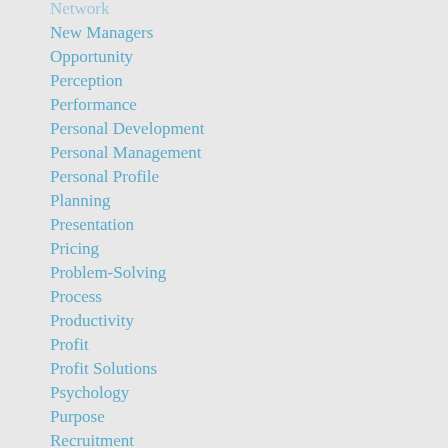Network
New Managers
Opportunity
Perception
Performance
Personal Development
Personal Management
Personal Profile
Planning
Presentation
Pricing
Problem-Solving
Process
Productivity
Profit
Profit Solutions
Psychology
Purpose
Recruitment
Revenue
Sales